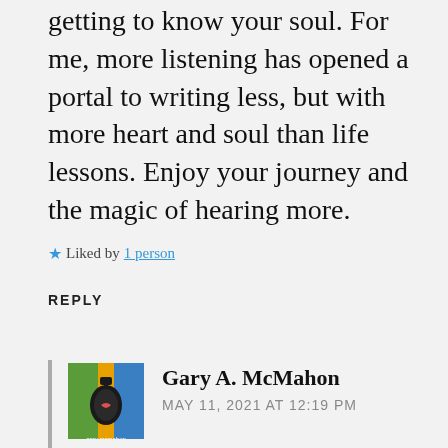getting to know your soul. For me, more listening has opened a portal to writing less, but with more heart and soul than life lessons. Enjoy your journey and the magic of hearing more.
★ Liked by 1 person
REPLY
[Figure (photo): Avatar image of Gary A. McMahon showing a guitar with a heart on it against a colorful background]
Gary A. McMahon
MAY 11, 2021 AT 12:19 PM